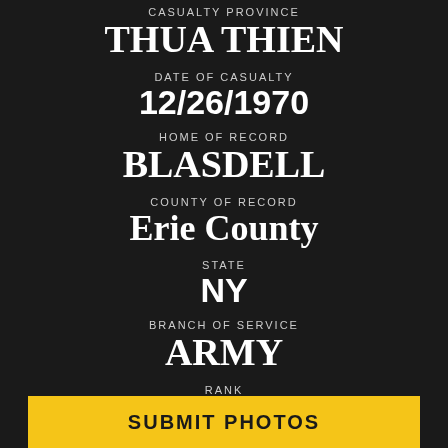CASUALTY PROVINCE
THUA THIEN
DATE OF CASUALTY
12/26/1970
HOME OF RECORD
BLASDELL
COUNTY OF RECORD
Erie County
STATE
NY
BRANCH OF SERVICE
ARMY
RANK
SP4
SUBMIT PHOTOS